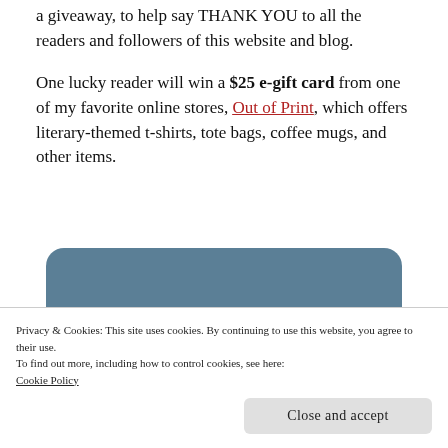a giveaway, to help say THANK YOU to all the readers and followers of this website and blog.
One lucky reader will win a $25 e-gift card from one of my favorite online stores, Out of Print, which offers literary-themed t-shirts, tote bags, coffee mugs, and other items.
[Figure (other): A blue-gray rounded rectangle banner/box, partially visible]
Privacy & Cookies: This site uses cookies. By continuing to use this website, you agree to their use.
To find out more, including how to control cookies, see here: Cookie Policy
Close and accept